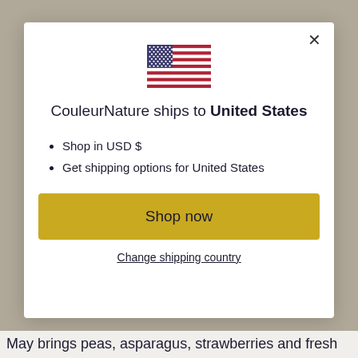[Figure (illustration): US flag SVG icon centered at top of modal]
CouleurNature ships to United States
Shop in USD $
Get shipping options for United States
Shop now
Change shipping country
May brings peas, asparagus, strawberries and fresh